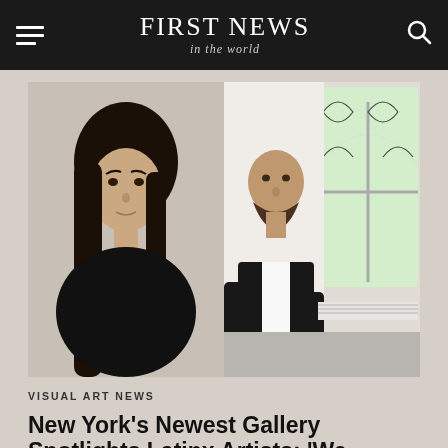FIRST NEWS in the world
[Figure (photo): Two side-by-side portrait photos: left shows a young woman with long dark hair wearing a black top; right shows a bald man with a beard wearing a black blazer and white shirt, leaning against a white wall near a large arched window with ornate ironwork and greenery outside.]
VISUAL ART NEWS
New York's Newest Gallery Spotlights Latinx Artists: 'We